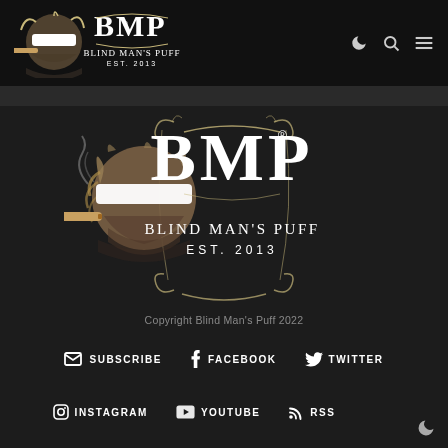BMP Blind Man's Puff Est. 2013 — Header navigation with moon, search, and menu icons
[Figure (logo): Blind Man's Puff (BMP) logo — blindfolded man smoking a cigar with stylized BMP lettering and Blind Man's Puff Est. 2013 text, large centered version]
Copyright Blind Man's Puff 2022
SUBSCRIBE  FACEBOOK  TWITTER
INSTAGRAM  YOUTUBE  RSS